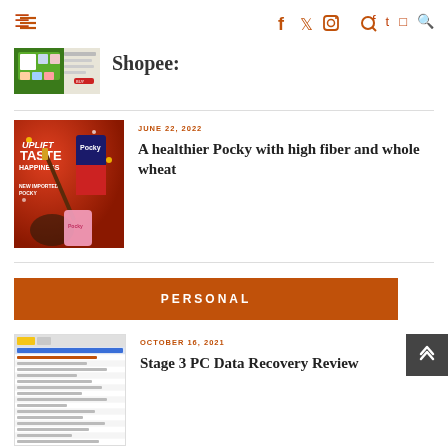≡  f  🐦  📷  🔍
[Figure (screenshot): Thumbnail of a product page on Shopee showing food/beverage items]
Shopee:
[Figure (photo): Pocky advertisement image with red background showing Uplift the Taste of Happiness text and Pocky boxes]
JUNE 22, 2022
A healthier Pocky with high fiber and whole wheat
PERSONAL
[Figure (screenshot): Screenshot of PC data recovery software showing file listing]
OCTOBER 16, 2021
Stage 3 PC Data Recovery Review